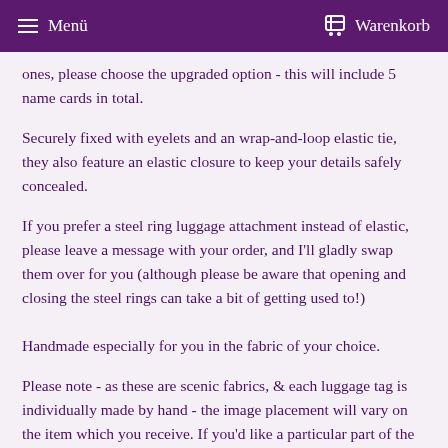Menü   Warenkorb
ones, please choose the upgraded option - this will include 5 name cards in total.
Securely fixed with eyelets and an wrap-and-loop elastic tie, they also feature an elastic closure to keep your details safely concealed.
If you prefer a steel ring luggage attachment instead of elastic, please leave a message with your order, and I'll gladly swap them over for you (although please be aware that opening and closing the steel rings can take a bit of getting used to!)
Handmade especially for you in the fabric of your choice.
Please note - as these are scenic fabrics, & each luggage tag is individually made by hand - the image placement will vary on the item which you receive. If you'd like a particular part of the design to be featured on your tag, please leave a message with your order and I'll be happy to accommodate your wishes. Otherwise, designs are chosen